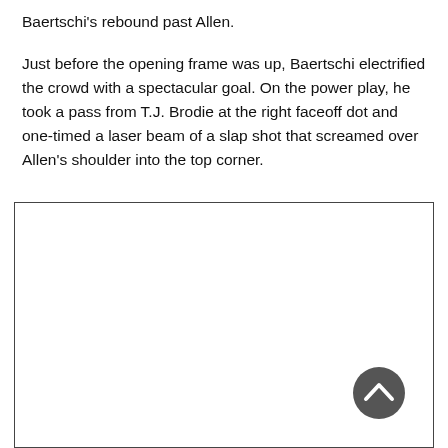Baertschi's rebound past Allen.
Just before the opening frame was up, Baertschi electrified the crowd with a spectacular goal. On the power play, he took a pass from T.J. Brodie at the right faceoff dot and one-timed a laser beam of a slap shot that screamed over Allen's shoulder into the top corner.
[Figure (other): Large white rectangular image placeholder with a dark border, containing a back-to-top circular button in the bottom-right corner.]